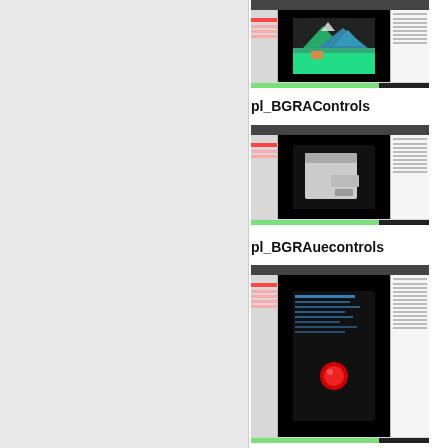[Figure (screenshot): Screenshot of a development IDE or application showing a mountain landscape image in a dark preview panel, with a green progress bar at the bottom]
pl_BGRAControls
[Figure (screenshot): Screenshot of a development IDE showing a white/gray dialog or control panel in a dark background preview area, with a green progress bar at the bottom]
pl_BGRAuecontrols
[Figure (screenshot): Screenshot of a development IDE showing terminal output with a red circle in the dark preview area, with a green progress bar at the bottom]